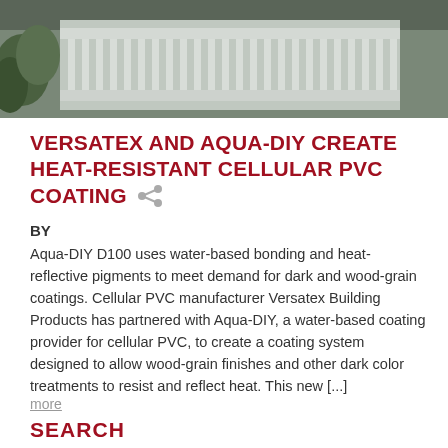[Figure (photo): Photograph of a house porch with white railing balusters and greenery visible in the background]
VERSATEX AND AQUA-DIY CREATE HEAT-RESISTANT CELLULAR PVC COATING
BY
Aqua-DIY D100 uses water-based bonding and heat-reflective pigments to meet demand for dark and wood-grain coatings. Cellular PVC manufacturer Versatex Building Products has partnered with Aqua-DIY, a water-based coating provider for cellular PVC, to create a coating system designed to allow wood-grain finishes and other dark color treatments to resist and reflect heat. This new [...]
more
SEARCH